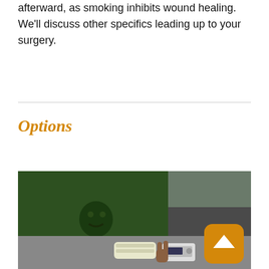afterward, as smoking inhibits wound healing. We'll discuss other specifics leading up to your surgery.
Options
[Figure (photo): Photo of a person in a dark green shirt sitting at a table with a bandaged hand/wrist, with what appears to be a medical device nearby. A back-to-top button (orange rounded square with upward arrow) is overlaid in the bottom right.]